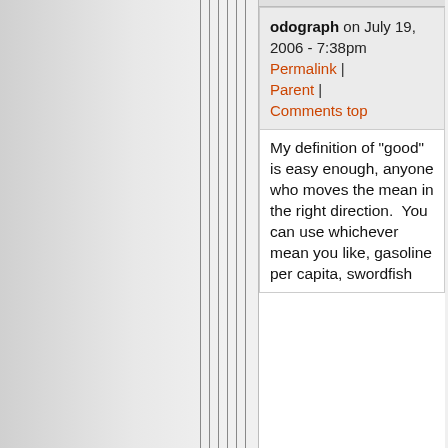odograph on July 19, 2006 - 7:38pm Permalink | Parent | Comments top
My definition of "good" is easy enough, anyone who moves the mean in the right direction.  You can use whichever mean you like, gasoline per capita, swordfish